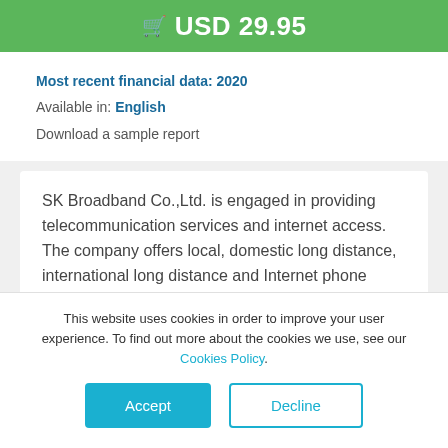USD 29.95
Most recent financial data: 2020
Available in: English
Download a sample report
SK Broadband Co.,Ltd. is engaged in providing telecommunication services and internet access. The company offers local, domestic long distance, international long distance and Internet phone services as well as optical local area network (LAN), Internet protocol television (IPTV) and other Internet related
This website uses cookies in order to improve your user experience. To find out more about the cookies we use, see our Cookies Policy.
Accept
Decline